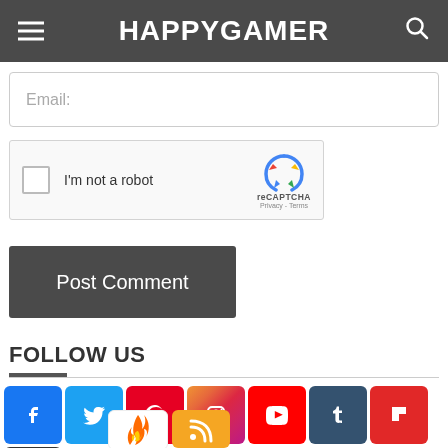HAPPYGAMER
[Figure (screenshot): Email input field placeholder]
[Figure (screenshot): reCAPTCHA widget with checkbox labeled I'm not a robot]
[Figure (screenshot): Post Comment button]
FOLLOW US
[Figure (infographic): Social media icons row: Facebook, Twitter, Pinterest, Instagram, YouTube, Tumblr, Flipboard, scroll-up, and bottom icons for fire/hotness site and RSS feed]